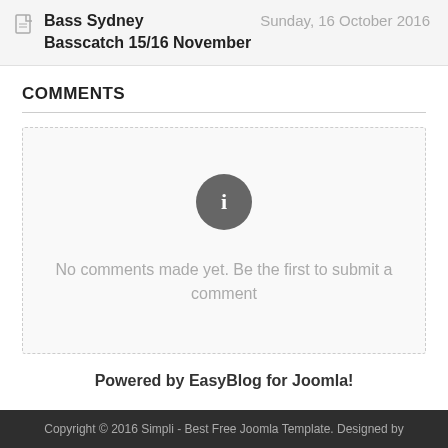Bass Sydney Basscatch 15/16 November   Sunday, 16 October 2016
COMMENTS
[Figure (infographic): Info icon (circle with letter i) above a message saying no comments]
No comments made yet. Be the first to submit a comment
Powered by EasyBlog for Joomla!
Copyright © 2016 Simpli - Best Free Joomla Template. Designed by